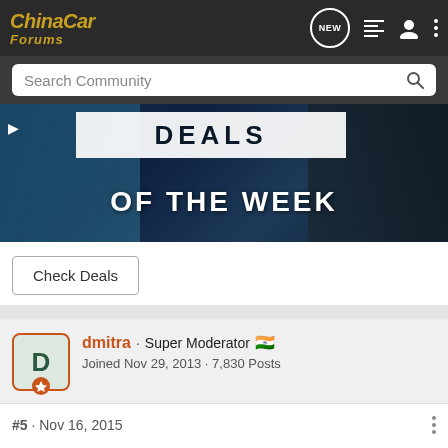ChinaCar Forums
Search Community
[Figure (photo): Car parts deals of the week banner image with dark blue automotive background]
Check Deals
dmitra · Super Moderator 🇮🇳
Joined Nov 29, 2013 · 7,830 Posts
#5 · Nov 16, 2015